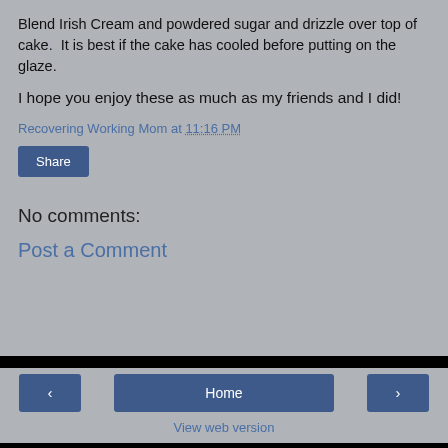Blend Irish Cream and powdered sugar and drizzle over top of cake.  It is best if the cake has cooled before putting on the glaze.
I hope you enjoy these as much as my friends and I did!
Recovering Working Mom at 11:16 PM
Share
No comments:
Post a Comment
< Home > View web version